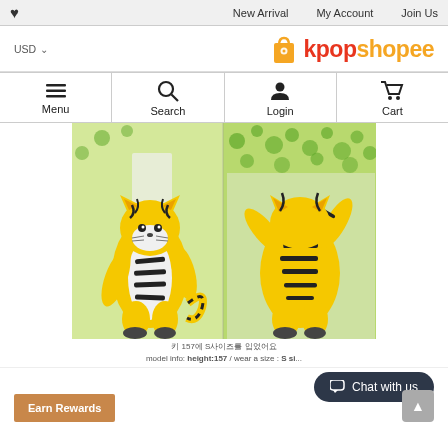♥  New Arrival  My Account  Join Us
[Figure (logo): kpopshopee logo with shopping bag icon, USD currency selector]
[Figure (infographic): Navigation bar with Menu, Search, Login, Cart icons]
[Figure (photo): Tiger animal onesie costume shown front and back view on a model, yellow with black stripes, against green and white background]
키 157에 S사이즈를 입었어요
model info: height:157 / wear a size : S si...
Chat with us
Earn Rewards